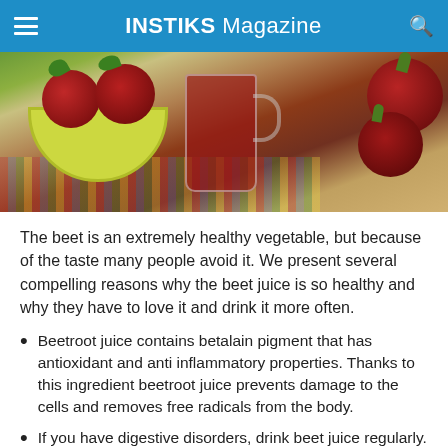INSTIKS Magazine
[Figure (photo): Photo of beets in a yellow bowl with a glass of red beet juice and whole beets on a colorful cloth background]
The beet is an extremely healthy vegetable, but because of the taste many people avoid it. We present several compelling reasons why the beet juice is so healthy and why they have to love it and drink it more often.
Beetroot juice contains betalain pigment that has antioxidant and anti inflammatory properties. Thanks to this ingredient beetroot juice prevents damage to the cells and removes free radicals from the body.
If you have digestive disorders, drink beet juice regularly. Studies have shown that beetroot juice cleanses the